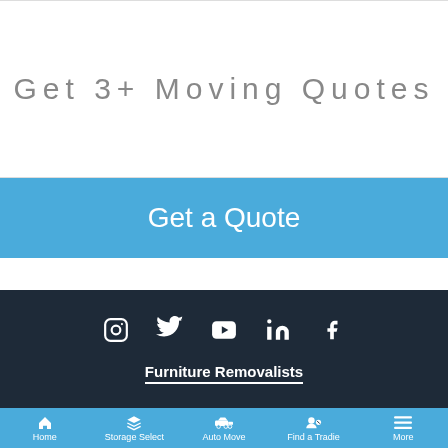Get 3+ Moving Quotes
Get a Quote
[Figure (infographic): Social media icons row: Instagram, Twitter, YouTube, LinkedIn, Facebook]
Furniture Removalists
Home | Storage Select | Auto Move | Find a Tradie | More